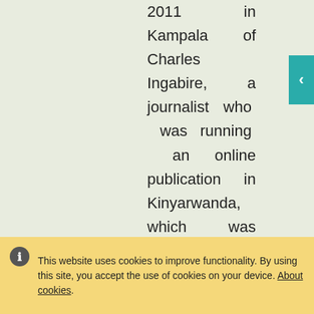2011 in Kampala of Charles Ingabire, a journalist who was running an online publication in Kinyarwanda, which was critical of the Kagame regime. Many of the Rwandans
This website uses cookies to improve functionality. By using this site, you accept the use of cookies on your device. About cookies.